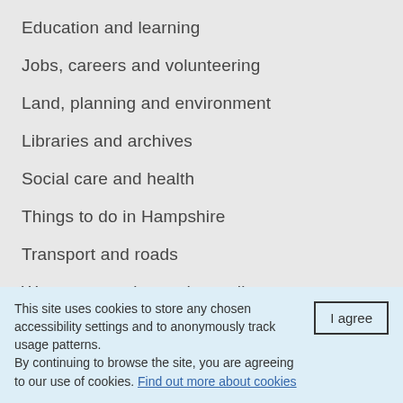Education and learning
Jobs, careers and volunteering
Land, planning and environment
Libraries and archives
Social care and health
Things to do in Hampshire
Transport and roads
Waste prevention and recycling
This site uses cookies to store any chosen accessibility settings and to anonymously track usage patterns. By continuing to browse the site, you are agreeing to our use of cookies. Find out more about cookies